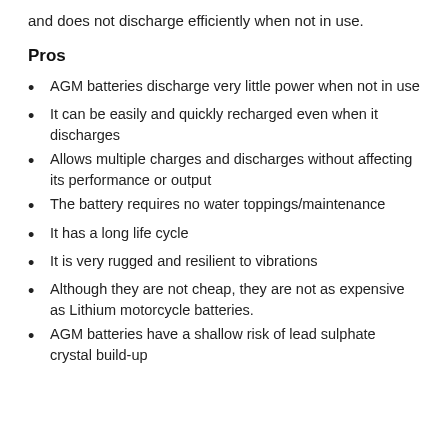and does not discharge efficiently when not in use.
Pros
AGM batteries discharge very little power when not in use
It can be easily and quickly recharged even when it discharges
Allows multiple charges and discharges without affecting its performance or output
The battery requires no water toppings/maintenance
It has a long life cycle
It is very rugged and resilient to vibrations
Although they are not cheap, they are not as expensive as Lithium motorcycle batteries.
AGM batteries have a shallow risk of lead sulphate crystal build-up